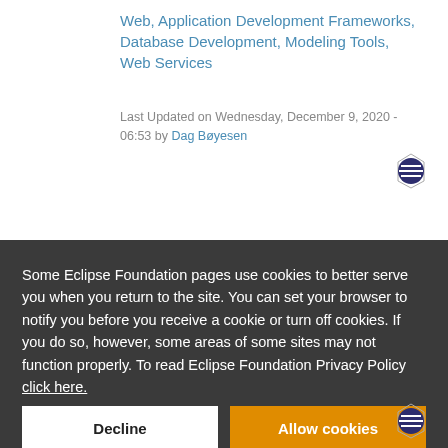Web, Application Development Frameworks, Database Development, Modeling Tools, Web Services
Last Updated on Wednesday, December 9, 2020 - 06:53 by Dag Bøyesen
Some Eclipse Foundation pages use cookies to better serve you when you return to the site. You can set your browser to notify you before you receive a cookie or turn off cookies. If you do so, however, some areas of some sites may not function properly. To read Eclipse Foundation Privacy Policy click here.
Decline
Allow cookies
M2Doc